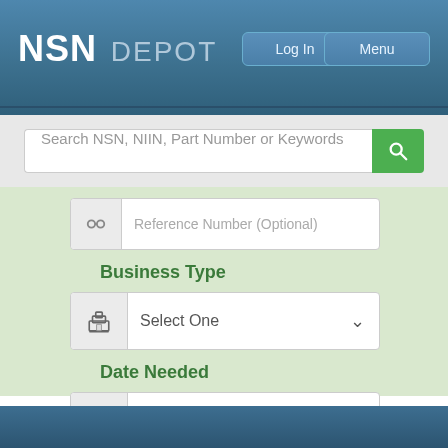NSN DEPOT
Log In
Menu
Search NSN, NIIN, Part Number or Keywords
Reference Number (Optional)
Business Type
Select One
Date Needed
Select One